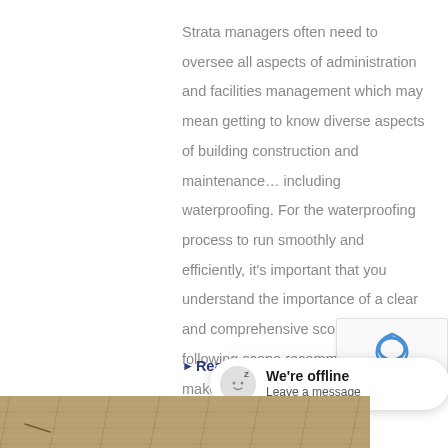Strata managers often need to oversee all aspects of administration and facilities management which may mean getting to know diverse aspects of building construction and maintenance… including waterproofing. For the waterproofing process to run smoothly and efficiently, it's important that you understand the importance of a clear and comprehensive scope – and why following scope recommendations will make all the difference.
Read More
[Figure (screenshot): Website UI overlay showing a reCAPTCHA badge with logo, privacy and terms links, and a chat bubble widget indicating 'We're offline' with a 'Leave a message' link]
[Figure (photo): Bottom portion of a photo showing what appears to be a textured surface or building material in brown/tan tones]